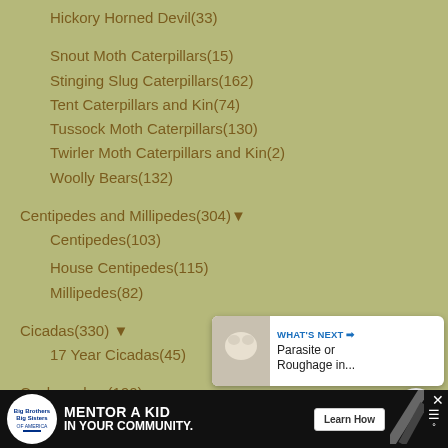Hickory Horned Devil(33)
Snout Moth Caterpillars(15)
Stinging Slug Caterpillars(162)
Tent Caterpillars and Kin(74)
Tussock Moth Caterpillars(130)
Twirler Moth Caterpillars and Kin(2)
Woolly Bears(132)
Centipedes and Millipedes(304) ▼
Centipedes(103)
House Centipedes(115)
Millipedes(82)
Cicadas(330) ▼
17 Year Cicadas(45)
Cockroaches(190)
Coelenerates(1)
Crickets, Camel Crickets and Mole Crickets(322) ▼
Raspy Crickets(26)
[Figure (screenshot): UI overlay with heart/favorite button (blue circle), count badge showing '1', and share button (white circle). Also a 'WHAT'S NEXT' panel with thumbnail and text 'Parasite or Roughage in...']
[Figure (screenshot): Bottom advertisement bar: Big Brothers Big Sisters logo, 'MENTOR A KID IN YOUR COMMUNITY.' text, 'Learn How' button, decorative stripes, and weather icon]